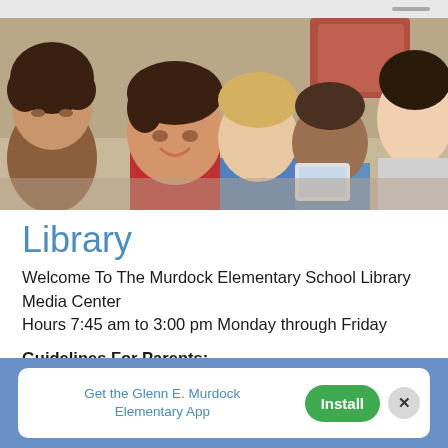[Figure (photo): Children sitting in a row reading tablets with a teacher on the right side, classroom setting]
Library
Welcome To The Murdock Elementary School Library Media Center
Hours 7:45 am to 3:00 pm Monday through Friday
Guidelines For Parents:
Remember to keep library books in a safe place.
Get the Glenn E. Murdock Elementary App   Install   ×